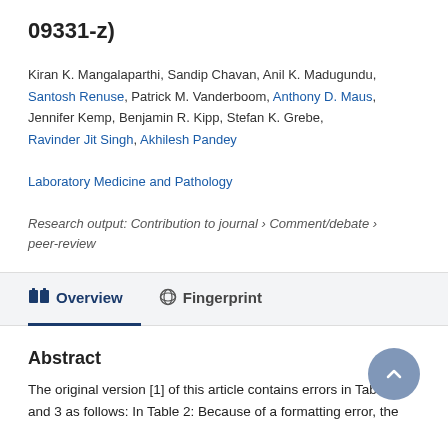09331-z)
Kiran K. Mangalaparthi, Sandip Chavan, Anil K. Madugundu, Santosh Renuse, Patrick M. Vanderboom, Anthony D. Maus, Jennifer Kemp, Benjamin R. Kipp, Stefan K. Grebe, Ravinder Jit Singh, Akhilesh Pandey
Laboratory Medicine and Pathology
Research output: Contribution to journal › Comment/debate › peer-review
Abstract
The original version [1] of this article contains errors in Tables 2 and 3 as follows: In Table 2: Because of a formatting error, the